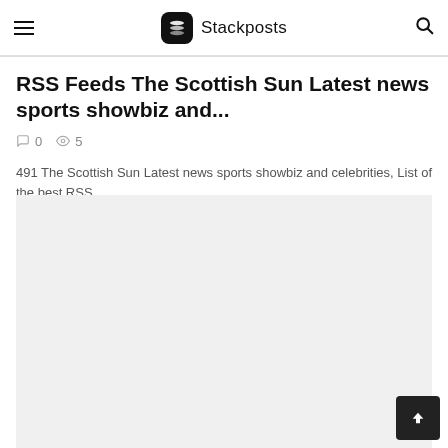Stackposts
RSS Feeds The Scottish Sun Latest news sports showbiz and...
0  5
491 The Scottish Sun Latest news sports showbiz and celebrities, List of the best RSS...
[Figure (other): Empty image placeholder area (gray background)]